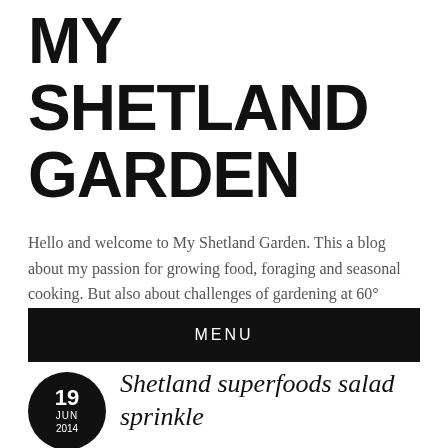MY SHETLAND GARDEN
Hello and welcome to My Shetland Garden. This a blog about my passion for growing food, foraging and seasonal cooking. But also about challenges of gardening at 60° North.
MENU
[Figure (other): Black circle date badge showing 19 JUN 2014]
Shetland superfoods salad sprinkle
posted in Adventures, Free Food by misahay
My colleague from A Taste of Shetland Elizabeth inspired me to try to